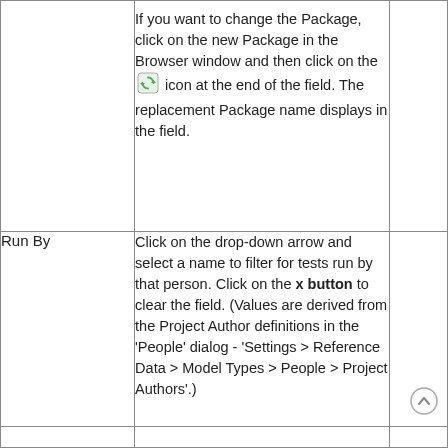|  | If you want to change the Package, click on the new Package in the Browser window and then click on the [icon] icon at the end of the field. The replacement Package name displays in the field. |  |
| Run By | Click on the drop-down arrow and select a name to filter for tests run by that person. Click on the x button to clear the field. (Values are derived from the Project Author definitions in the 'People' dialog - 'Settings > Reference Data > Model Types > People > Project Authors'.) |  |
|  |  |  |